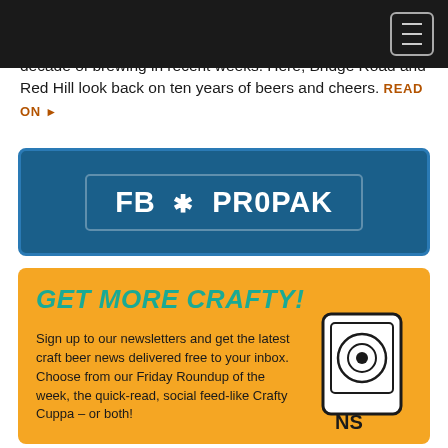decade of brewing in recent weeks. Here, Bridge Road and Red Hill look back on ten years of beers and cheers. READ ON ▸
[Figure (logo): FB*PROPAK logo banner on dark blue background with decorative border]
GET MORE CRAFTY!
Sign up to our newsletters and get the latest craft beer news delivered free to your inbox. Choose from our Friday Roundup of the week, the quick-read, social feed-like Crafty Cuppa – or both!
Email address
Friday Roundup (checked)
Crafty Cuppa (unchecked)